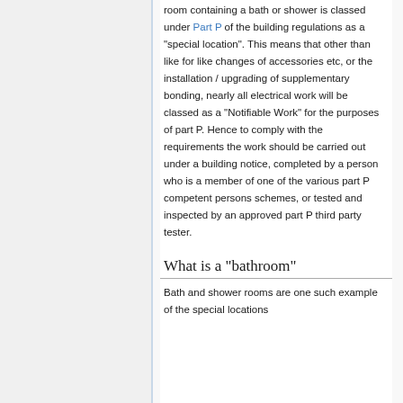room containing a bath or shower is classed under Part P of the building regulations as a "special location". This means that other than like for like changes of accessories etc, or the installation / upgrading of supplementary bonding, nearly all electrical work will be classed as a "Notifiable Work" for the purposes of part P. Hence to comply with the requirements the work should be carried out under a building notice, completed by a person who is a member of one of the various part P competent persons schemes, or tested and inspected by an approved part P third party tester.
What is a "bathroom"
Bath and shower rooms are one such example of the special locations...